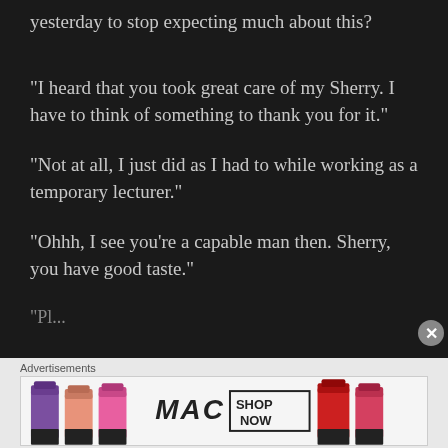yesterday to stop expecting much about this?
“I heard that you took great care of my Sherry. I have to think of something to thank you for it.”
“Not at all, I just did as I had to while working as a temporary lecturer.”
“Ohhh, I see you’re a capable man then. Sherry, you have good taste.”
“Pl...
Advertisements
[Figure (photo): MAC Cosmetics advertisement banner showing colorful lipsticks and MAC logo with SHOP NOW button]